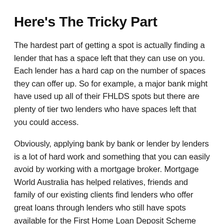Here's The Tricky Part
The hardest part of getting a spot is actually finding a lender that has a space left that they can use on you. Each lender has a hard cap on the number of spaces they can offer up. So for example, a major bank might have used up all of their FHLDS spots but there are plenty of tier two lenders who have spaces left that you could access.
Obviously, applying bank by bank or lender by lenders is a lot of hard work and something that you can easily avoid by working with a mortgage broker. Mortgage World Australia has helped relatives, friends and family of our existing clients find lenders who offer great loans through lenders who still have spots available for the First Home Loan Deposit Scheme (FHLDS).
If you qualify (or you are not sure if you qualify) for the FHLDS